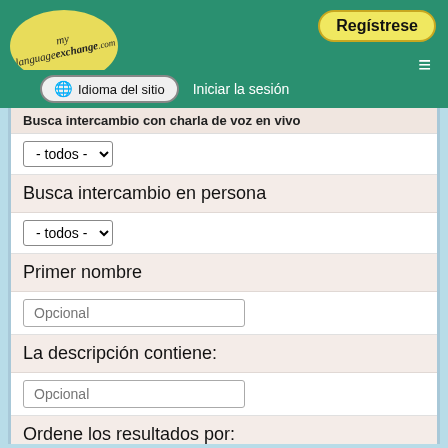[Figure (screenshot): MyLanguageExchange.com website header with teal background, logo, Regístrese button, hamburger menu, globe icon, Idioma del sitio button, and Iniciar la sesión link]
Busca intercambio con charla de voz en vivo
- todos -
Busca intercambio en persona
- todos -
Primer nombre
Opcional
La descripción contiene:
Opcional
Ordene los resultados por:
Última fecha de ingreso al sistema